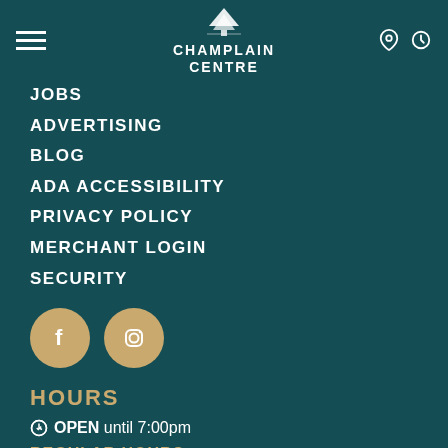Champlain Centre
JOBS
ADVERTISING
BLOG
ADA ACCESSIBILITY
PRIVACY POLICY
MERCHANT LOGIN
SECURITY
[Figure (logo): Facebook and Instagram social media icons as gold circles with white logos]
HOURS
OPEN until 7:00pm
REGULAR HOURS
MONDAY – SATURDAY
11:00AM – 7:00PM
SUNDAY